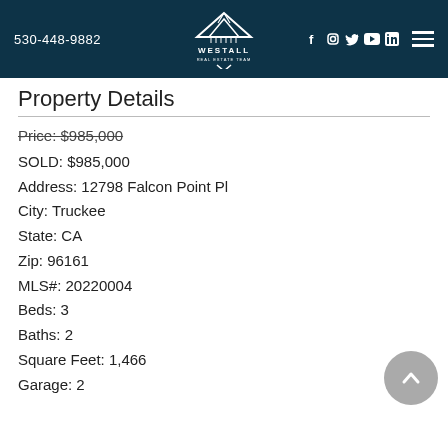530-448-9882  WESTALL REAL ESTATE TEAM
Property Details
Price: $985,000 (strikethrough)
SOLD: $985,000
Address: 12798 Falcon Point Pl
City: Truckee
State: CA
Zip: 96161
MLS#: 20220004
Beds: 3
Baths: 2
Square Feet: 1,466
Garage: 2